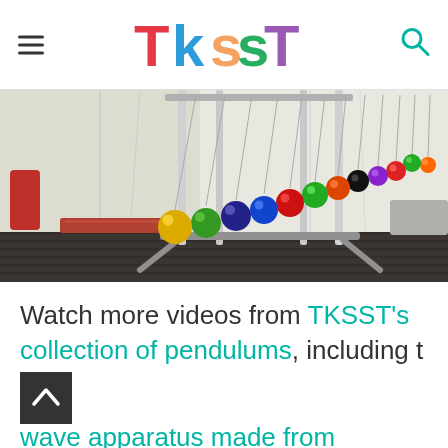TKSST
[Figure (photo): A pendulum wave apparatus with colorful bowling-ball-sized spheres (red, orange, yellow, green, blue, purple, black) suspended from metal poles forming a wave pattern in mid-swing.]
Watch more videos from TKSST's collection of pendulums, including t… wave apparatus made from bowling